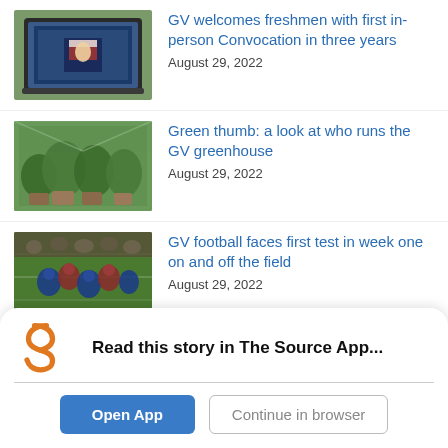GV welcomes freshmen with first in-person Convocation in three years
August 29, 2022
Green thumb: a look at who runs the GV greenhouse
August 29, 2022
GV football faces first test in week one on and off the field
August 29, 2022
GV students expected to benefit from federal student debt forgiveness
August 29, 2022
Read this story in The Source App...
Open App
Continue in browser